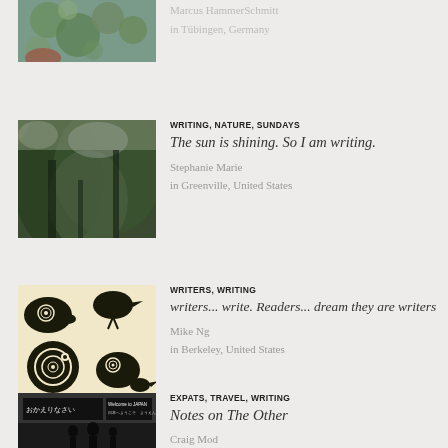[Figure (photo): Top partial photo cropped, showing green organic shapes]
Marcus HammerSchmitt
in Tübingen, Germany
[Figure (photo): Photo of trees with green foliage against sky]
WRITING, NATURE, SUNDAYS
The sun is shining. So I am writing.
Stephanie Marie
in Greenville, United States
[Figure (illustration): Black and cream illustration with bird and animal silhouettes featuring spiral patterns]
WRITERS, WRITING
writers... write. Readers... dream they are writers
Mike Ng
in Berkeley, United States
[Figure (photo): Black and white photo of Japanese airport with sign おかえりなさい / Welcome to JAPAN]
EXPATS, TRAVEL, WRITING
Notes on The Other
Craig Mod
in Narita, Japan